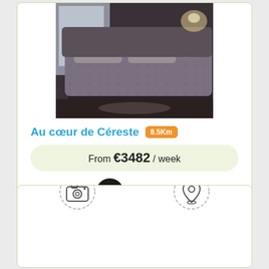[Figure (photo): Bedroom photo showing a double bed with gray/purple bedding and pillows, dark wooden floor]
Au cœur de Céreste 8.5Km
From €3482 / week
Book Now
[Figure (other): Bottom card with camera icon (dashed circle) and location pin icon (dashed circle)]